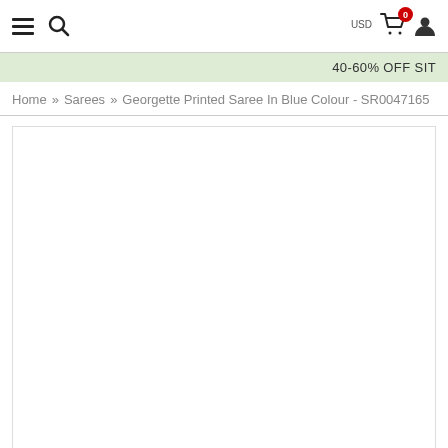Navigation header with hamburger menu, search icon, USD currency label, cart with badge 0, and user icon
40-60% OFF SIT
Home » Sarees » Georgette Printed Saree In Blue Colour - SR0047165
[Figure (photo): White/empty product image area with a thin border — product image placeholder for a Georgette Printed Saree in Blue Colour]